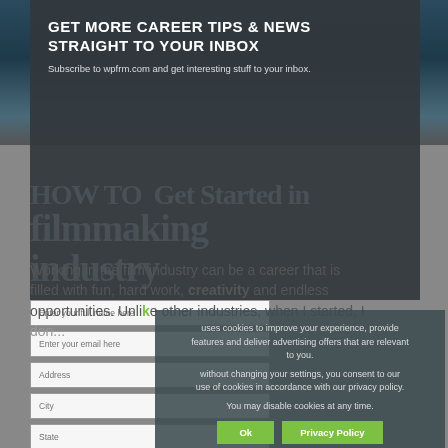[Figure (screenshot): Screenshot of a website/TV news interface in the background]
GET MORE CAREER TIPS & NEWS STRAIGHT TO YOUR INBOX
Subscribe to wpfrm.com and get interesting stuff to your inbox.
Enter your full name here
Enter your email here
Address
City
State
Zip
Subscribe →
HOW TO Get Started in filmmaking industry
Working in the film industry can be a career that is filled with fun, hard work, creativity and endless opportunities. Unlike other industries, when I started, I
uses cookies to improve your experience, provide social media features and deliver advertising offers that are relevant to you.

without changing your settings, you consent to our use of cookies in accordance with our privacy policy.

You may disable cookies at any time.
OK
Privacy Policy